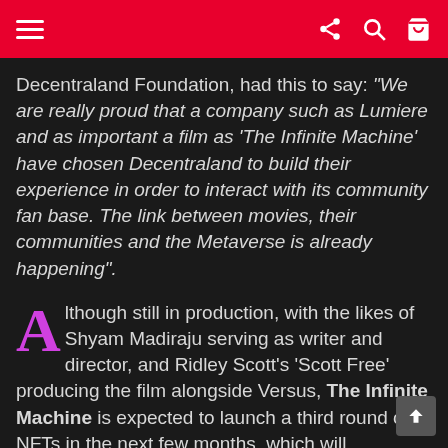≡  ⁋ 🔍 🛒
Decentraland Foundation, had this to say: "We are really proud that a company such as Lumiere and as important a film as 'The Infinite Machine' have chosen Decentraland to build their experience in order to interact with its community fan base. The link between movies, their communities and the Metaverse is already happening".
Although still in production, with the likes of Shyam Madiraju serving as writer and director, and Ridley Scott's 'Scott Free' producing the film alongside Versus, The Infinite Machine is expected to launch a third round of NFTs in the next few months, which will ultimately see it become the first ever NFT-financed